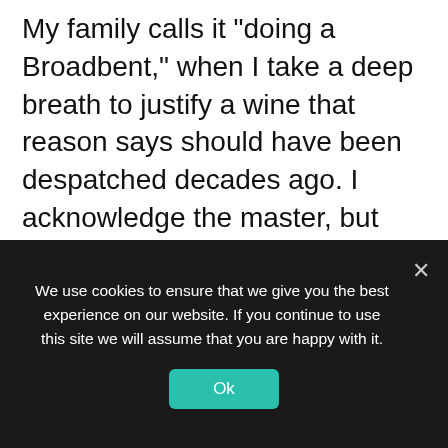My family calls it "doing a Broadbent," when I take a deep breath to justify a wine that reason says should have been despatched decades ago. I acknowledge the master, but who can keep silent in the presence of a game survivor? "My" Ausone was preceded by a bottle of the nimblest, sleekest, most energizing Champagne: the 1996 Dom Pérignon. The Ausone was accompanied by a breast of duck and green peas. There were four of us, heads bowed. It gave us ten minutes of intense pleasure.
We use cookies to ensure that we give you the best experience on our website. If you continue to use this site we will assume that you are happy with it.